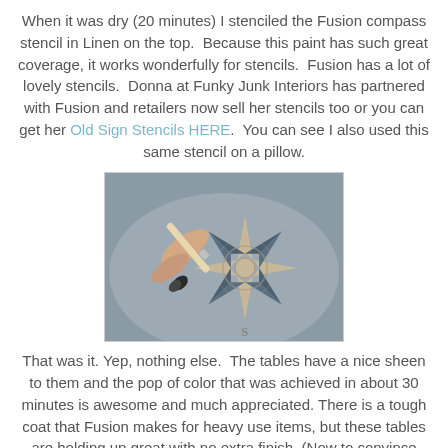When it was dry (20 minutes) I stenciled the Fusion compass stencil in Linen on the top.  Because this paint has such great coverage, it works wonderfully for stencils.  Fusion has a lot of lovely stencils.  Donna at Funky Junk Interiors has partnered with Fusion and retailers now sell her stencils too or you can get her Old Sign Stencils HERE.  You can see I also used this same stencil on a pillow.
[Figure (photo): A hand holding a paintbrush applying Linen colored Fusion paint through a compass rose stencil on a surface. The compass rose design is visible in beige/linen color with dark blue-grey directional points. Watermark reads 'Beyond The Picket Fence'.]
That was it. Yep, nothing else.  The tables have a nice sheen to them and the pop of color that was achieved in about 30 minutes is awesome and much appreciated. There is a tough coat that Fusion makes for heavy use items, but these tables are holding up great with no extra finish. (Now to convince